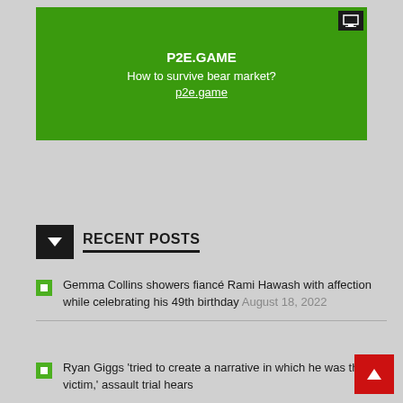[Figure (other): Green advertisement banner for P2E.GAME with text 'P2E.GAME', 'How to survive bear market?', and link 'p2e.game']
RECENT POSTS
Gemma Collins showers fiancé Rami Hawash with affection while celebrating his 49th birthday August 18, 2022
Ryan Giggs 'tried to create a narrative in which he was the victim,' assault trial hears